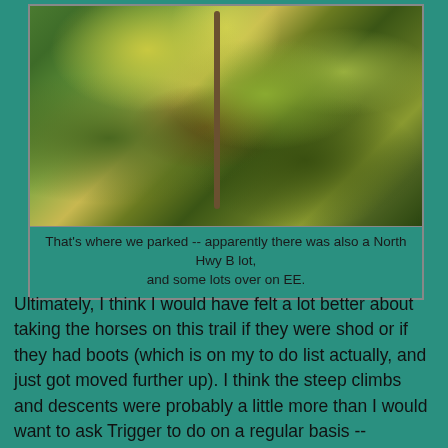[Figure (photo): A photo of a forest floor and bushes with autumn leaves, with a wooden post or tree trunk visible in the center-top area. The ground is covered with fallen leaves.]
That's where we parked -- apparently there was also a North Hwy B lot, and some lots over on EE.
Ultimately, I think I would have felt a lot better about taking the horses on this trail if they were shod or if they had boots (which is on my to do list actually, and just got moved further up). I think the steep climbs and descents were probably a little more than I would want to ask Trigger to do on a regular basis -- particularly if it was at all warm (it was only about 65/70 Monday so they didn't work up much of a sweat). The pro of this trail though was no bikers or pedestrians (I guess you might occasionally run into a hiker, but aside from the weirdos at the trailhead, we didn't see another soul)